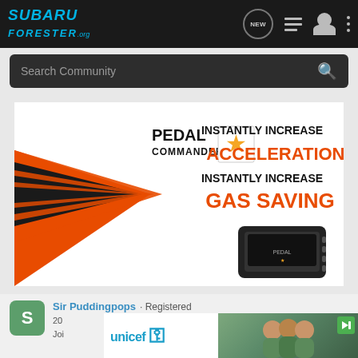Subaru Forester Forum navigation bar with logo, NEW button, list icon, user icon, menu icon
Search Community
[Figure (advertisement): Pedal Commander advertisement: INSTANTLY INCREASE ACCELERATION, INSTANTLY INCREASE GAS SAVING with orange and black design and product image]
Sir Puddingpops · Registered
20... Joi...
[Figure (advertisement): UNICEF advertisement overlay with children photo]